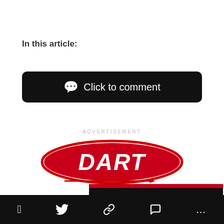In this article:
Click to comment
ADVERTISEMENT
[Figure (logo): DART logo in red with arrow, branded automotive parts logo]
[Figure (infographic): DART banner with text QUALITY. STRENGTH. on black background with red stripe]
Social share bar with Facebook, Twitter, link, comment, and more icons